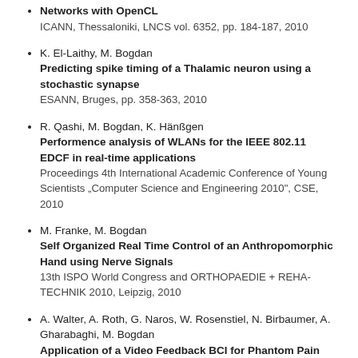Networks with OpenCL
ICANN, Thessaloniki, LNCS vol. 6352, pp. 184-187, 2010
K. El-Laithy, M. Bogdan
Predicting spike timing of a Thalamic neuron using a stochastic synapse
ESANN, Bruges, pp. 358-363, 2010
R. Qashi, M. Bogdan, K. Hänßgen
Performence analysis of WLANs for the IEEE 802.11 EDCF in real-time applications
Proceedings 4th International Academic Conference of Young Scientists „Computer Science and Engineering 2010", CSE, 2010
M. Franke, M. Bogdan
Self Organized Real Time Control of an Anthropomorphic Hand using Nerve Signals
13th ISPO World Congress and ORTHOPAEDIE + REHA-TECHNIK 2010, Leipzig, 2010
A. Walter, A. Roth, G. Naros, W. Rosenstiel, N. Birbaumer, A. Gharabaghi, M. Bogdan
Application of a Video Feedback BCI for Phantom Pain